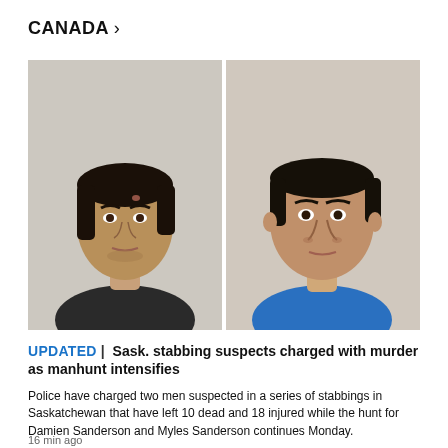CANADA >
[Figure (photo): Two side-by-side mugshot-style photos of Damien Sanderson (left, wearing dark shirt) and Myles Sanderson (right, wearing blue shirt), the Saskatchewan stabbing suspects.]
UPDATED | Sask. stabbing suspects charged with murder as manhunt intensifies
Police have charged two men suspected in a series of stabbings in Saskatchewan that have left 10 dead and 18 injured while the hunt for Damien Sanderson and Myles Sanderson continues Monday.
16 min ago